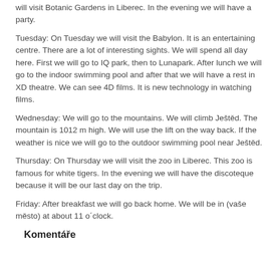stay at the Pytloun Hotel and then we will have lunch. After lunch we will visit Botanic Gardens in Liberec. In the evening we will have a party.
Tuesday: On Tuesday we will visit the Babylon. It is an entertaining centre. There are a lot of interesting sights. We will spend all day here. First we will go to IQ park, then to Lunapark. After lunch we will go to the indoor swimming pool and after that we will have a rest in XD theatre. We can see 4D films. It is new technology in watching films.
Wednesday: We will go to the mountains. We will climb Ještěd. The mountain is 1012 m high. We will use the lift on the way back. If the weather is nice we will go to the outdoor swimming pool near Ještěd.
Thursday: On Thursday we will visit the zoo in Liberec. This zoo is famous for white tigers. In the evening we will have the discoteque because it will be our last day on the trip.
Friday: After breakfast we will go back home. We will be in (vaše město) at about 11 o´clock.
Komentáře